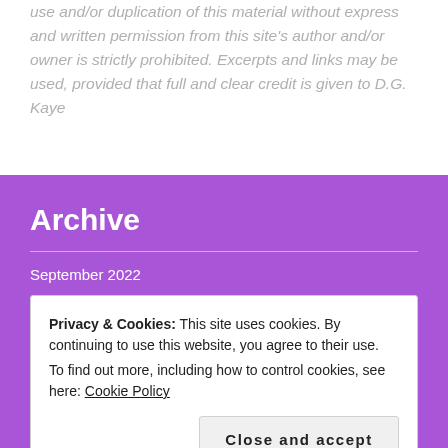use and/or duplication of this material without express and written permission from this site's author and/or owner is strictly prohibited. Excerpts and links may be used, provided that full and clear credit is given to D.G. Kaye
Archive
September 2022
Privacy & Cookies: This site uses cookies. By continuing to use this website, you agree to their use.
To find out more, including how to control cookies, see here: Cookie Policy
Close and accept